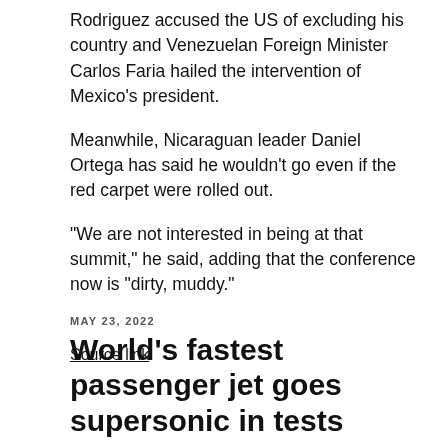Rodriguez accused the US of excluding his country and Venezuelan Foreign Minister Carlos Faria hailed the intervention of Mexico's president.
Meanwhile, Nicaraguan leader Daniel Ortega has said he wouldn't go even if the red carpet were rolled out.
“We are not interested in being at that summit,” he said, adding that the conference now is “dirty, muddy.”
Source link
MAY 23, 2022
World’s fastest passenger jet goes supersonic in tests